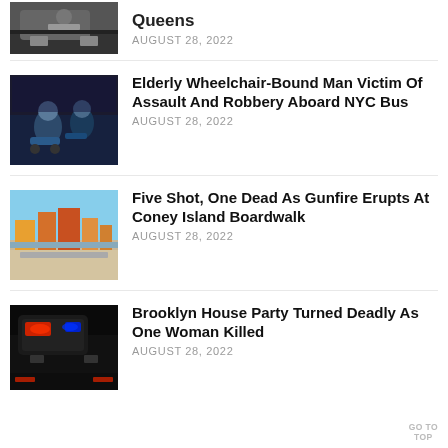[Figure (photo): Partial view of police or emergency vehicle on street, Queens news story thumbnail]
Queens
AUGUST 28, 2022
[Figure (photo): Security camera footage of person assaulting wheelchair-bound elderly man on NYC bus]
Elderly Wheelchair-Bound Man Victim Of Assault And Robbery Aboard NYC Bus
AUGUST 28, 2022
[Figure (photo): Aerial or wide view of Coney Island boardwalk and amusement park]
Five Shot, One Dead As Gunfire Erupts At Coney Island Boardwalk
AUGUST 28, 2022
[Figure (photo): Emergency vehicle with red and blue lights at night, Brooklyn news story thumbnail]
Brooklyn House Party Turned Deadly As One Woman Killed
AUGUST 28, 2022
GO TO TOP